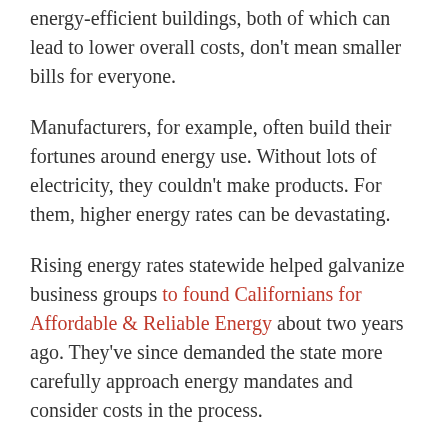energy-efficient buildings, both of which can lead to lower overall costs, don't mean smaller bills for everyone.
Manufacturers, for example, often build their fortunes around energy use. Without lots of electricity, they couldn't make products. For them, higher energy rates can be devastating.
Rising energy rates statewide helped galvanize business groups to found Californians for Affordable & Reliable Energy about two years ago. They've since demanded the state more carefully approach energy mandates and consider costs in the process.
“Rates matter. It matters for the economy,” Alison MacLeod, a spokeswoman for the group, said. “It matters for businesses making decisions about where to locate, where to expand. We don't just